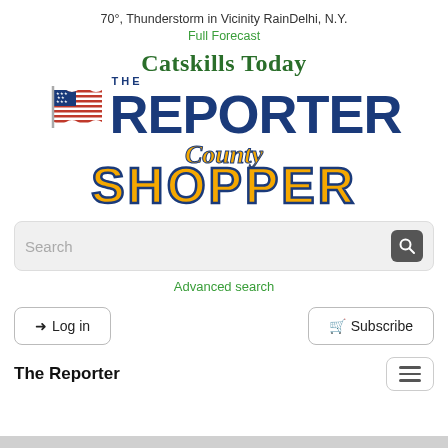70°, Thunderstorm in Vicinity RainDelhi, N.Y.
Full Forecast
[Figure (logo): Catskills Today The Reporter County Shopper newspaper masthead logo with American flag, green serif title 'Catskills Today', large bold dark blue 'THE REPORTER', and orange outlined 'County Shopper' in script and bold text]
Search
Advanced search
Log in
Subscribe
The Reporter